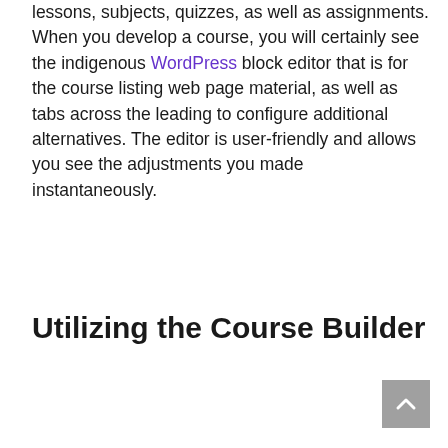lessons, subjects, quizzes, as well as assignments. When you develop a course, you will certainly see the indigenous WordPress block editor that is for the course listing web page material, as well as tabs across the leading to configure additional alternatives. The editor is user-friendly and allows you see the adjustments you made instantaneously.
Utilizing the Course Builder